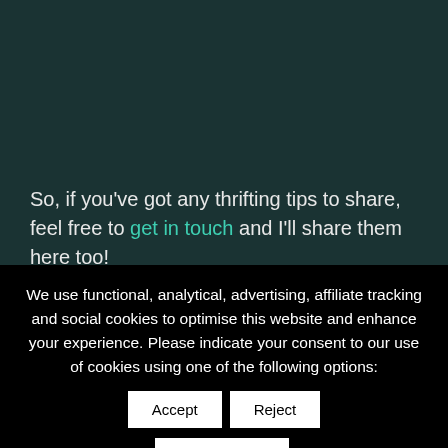So, if you've got any thrifting tips to share, feel free to get in touch and I'll share them here too!
We use functional, analytical, advertising, affiliate tracking and social cookies to optimise this website and enhance your experience. Please indicate your consent to our use of cookies using one of the following options: Accept Reject Read More.